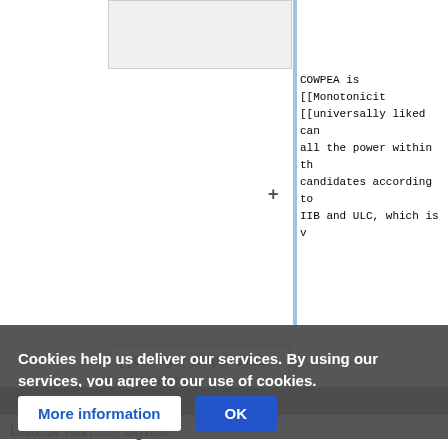[Figure (screenshot): Wikipedia diff view showing code blocks with category tags and a cookie consent banner overlay]
COWPEA is [[Monotonicit [[universally liked can all the power within th candidates according to IIB and ULC, which is v
[[Category:Approval methods]]
[[Category:Approval PR
[[Category:Approval vot
[[Category:Proportional
+ a [[Category:Multi-winner
Cookies help us deliver our services. By using our services, you agree to our use of cookies.
More information
OK
Latest revi          ugust